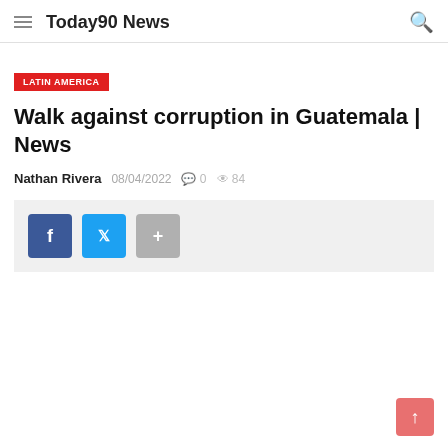Today90 News
LATIN AMERICA
Walk against corruption in Guatemala | News
Nathan Rivera  08/04/2022  0  84
[Figure (other): Social share buttons: Facebook (blue), Twitter (light blue), Plus/More (gray)]